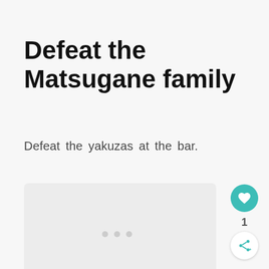Defeat the Matsugane family
Defeat the yakuzas at the bar.